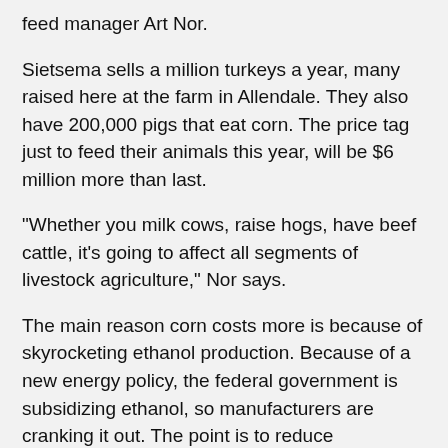feed manager Art Nor.
Sietsema sells a million turkeys a year, many raised here at the farm in Allendale. They also have 200,000 pigs that eat corn. The price tag just to feed their animals this year, will be $6 million more than last.
"Whether you milk cows, raise hogs, have beef cattle, it's going to affect all segments of livestock agriculture," Nor says.
The main reason corn costs more is because of skyrocketing ethanol production. Because of a new energy policy, the federal government is subsidizing ethanol, so manufacturers are cranking it out. The point is to reduce dependence on foreign oil, but it's corroding the farmer's bottom line.
Source: WZZM13